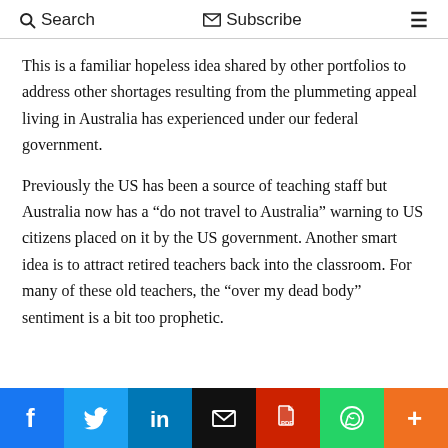Search   Subscribe
This is a familiar hopeless idea shared by other portfolios to address other shortages resulting from the plummeting appeal living in Australia has experienced under our federal government.
Previously the US has been a source of teaching staff but Australia now has a “do not travel to Australia” warning to US citizens placed on it by the US government. Another smart idea is to attract retired teachers back into the classroom. For many of these old teachers, the “over my dead body” sentiment is a bit too prophetic.
[Figure (infographic): Social sharing bar with icons: Facebook (blue), Twitter (light blue), LinkedIn (dark blue), Email (black), PDF (red), WhatsApp (green), More/Plus (orange)]